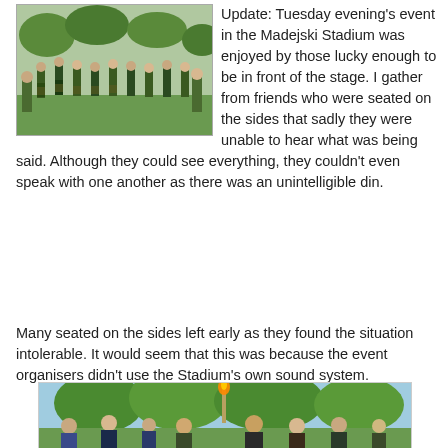[Figure (photo): Outdoor scene with people in kilts and green uniforms gathered in a park or garden area, resembling a pipe band.]
Update:  Tuesday evening's event in the Madejski Stadium was enjoyed by those lucky enough to be in front of the stage.  I gather from friends who were seated on the sides that sadly they were unable to hear what was being said.  Although they could see everything, they couldn't even speak with one another as there was an unintelligible din.
Many seated on the sides left early as they found the situation intolerable. It would seem that this was because the event organisers didn't use the Stadium's own sound system.
[Figure (photo): Outdoor scene with people gathered around a tall torch or flame on a pole, with trees in the background.]